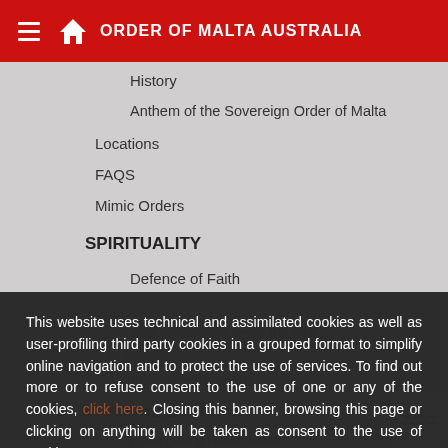ORDER OF MALTA AUSTRALIA
History
Anthem of the Sovereign Order of Malta
Locations
FAQS
Mimic Orders
SPIRITUALITY
Defence of Faith
CHARITABLE WORKS
Emergency Relief Fund
This website uses technical and assimilated cookies as well as user-profiling third party cookies in a grouped format to simplify online navigation and to protect the use of services. To find out more or to refuse consent to the use of one or any of the cookies, click here. Closing this banner, browsing this page or clicking on anything will be taken as consent to the use of cookies.
Close